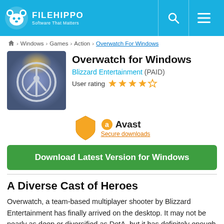FILEHIPPO Software That Matters
Home > Windows > Games > Action > Overwatch For Windows
Overwatch for Windows
Blizzard Entertainment (PAID)
User rating: 4 out of 5 stars
[Figure (logo): Avast secure downloads badge with orange shield icon and Avast logo]
Download Latest Version for Windows
A Diverse Cast of Heroes
Overwatch, a team-based multiplayer shooter by Blizzard Entertainment has finally arrived on the desktop. It may not be nearly as deep or diversified as DotA, but it has definitely enough to satisfy those who have been waiting for this exciting game. The developers at Blizzard Entertainment have managed to create an extremely